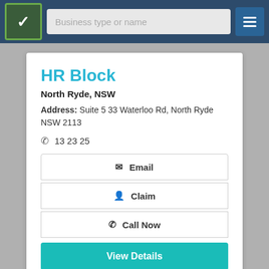Business type or name
HR Block
North Ryde, NSW
Address: Suite 5 33 Waterloo Rd, North Ryde NSW 2113
13 23 25
Email
Claim
Call Now
View Details